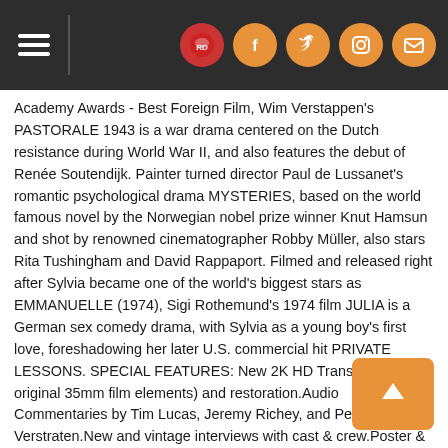Navigation header with hamburger menu and social icons
Academy Awards - Best Foreign Film, Wim Verstappen's PASTORALE 1943 is a war drama centered on the Dutch resistance during World War II, and also features the debut of Renée Soutendijk. Painter turned director Paul de Lussanet's romantic psychological drama MYSTERIES, based on the world famous novel by the Norwegian nobel prize winner Knut Hamsun and shot by renowned cinematographer Robby Müller, also stars Rita Tushingham and David Rappaport. Filmed and released right after Sylvia became one of the world's biggest stars as EMMANUELLE (1974), Sigi Rothemund's 1974 film JULIA is a German sex comedy drama, with Sylvia as a young boy's first love, foreshadowing her later U.S. commercial hit PRIVATE LESSONS. SPECIAL FEATURES: New 2K HD Transfers (from original 35mm film elements) and restoration.Audio Commentaries by Tim Lucas, Jeremy Richey, and Peter W. Verstraten.New and vintage interviews with cast & crew.Poster & Photo Galleries.Original Theatrical Trailers.Limited Edition of 2500/1000 (BD/DVD) copies includes 40-Page illustrated booklet written by Jeremy Richey and Poster with Art by Gilles Vranckx.